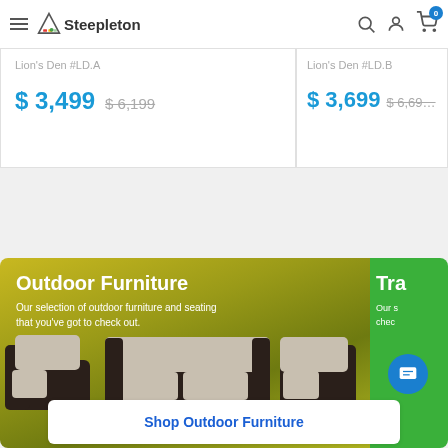Steepleton - Header navigation with hamburger menu, logo, search, account, and cart icons
Lion's Den #LD.A
$ 3,499  $ 6,199
Lion's Den #LD.B
$ 3,699  $ 6,699
[Figure (photo): Outdoor patio furniture set with dark wicker chairs and loveseat with beige cushions on a yellow-green gradient background banner]
Outdoor Furniture
Our selection of outdoor furniture and seating that you've got to check out.
Tra
Our s chec
Shop Outdoor Furniture